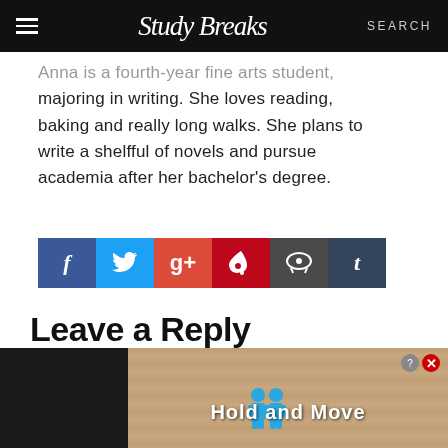Study Breaks — SEARCH
Anna is a fourth-year fine arts student, majoring in writing. She loves reading, baking and really long walks. She plans to write a shelfful of novels and pursue academia after her bachelor's degree.
[Figure (infographic): Social share buttons: Facebook (blue), Twitter (light blue), Google+ (red), Pinterest (dark red), Reddit (dark gray), Tumblr (dark blue-gray)]
Leave a Reply
[Figure (infographic): Facebook login button (blue square with white f icon)]
[Figure (infographic): Advertisement banner at bottom: 'Hold and Move' with two blue cartoon figures on a tan/wood background, with close (X) and info (?) buttons]